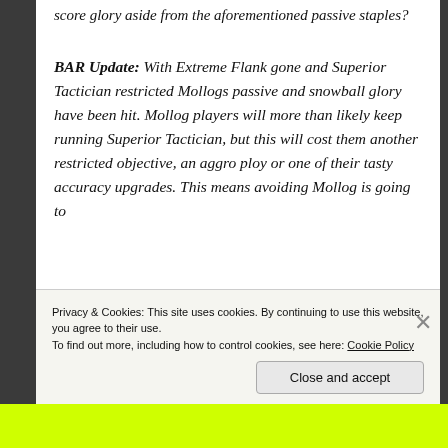score glory aside from the aforementioned passive staples?
BAR Update: With Extreme Flank gone and Superior Tactician restricted Mollogs passive and snowball glory have been hit. Mollog players will more than likely keep running Superior Tactician, but this will cost them another restricted objective, an aggro ploy or one of their tasty accuracy upgrades. This means avoiding Mollog is going to
Privacy & Cookies: This site uses cookies. By continuing to use this website, you agree to their use.
To find out more, including how to control cookies, see here: Cookie Policy
Close and accept